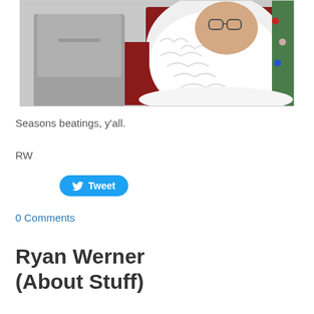[Figure (photo): A child in a grey sweatshirt standing next to a person dressed as Santa Claus with a large white beard and red suit, with a Christmas tree visible in the background.]
Seasons beatings, y'all.
RW
[Figure (other): Twitter Tweet button]
0 Comments
Ryan Werner (About Stuff)